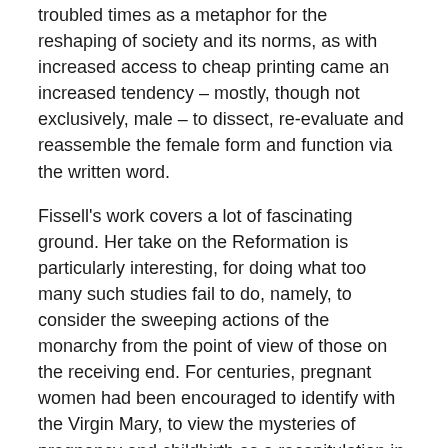troubled times as a metaphor for the reshaping of society and its norms, as with increased access to cheap printing came an increased tendency – mostly, though not exclusively, male – to dissect, re-evaluate and reassemble the female form and function via the written word.
Fissell's work covers a lot of fascinating ground. Her take on the Reformation is particularly interesting, for doing what too many such studies fail to do, namely, to consider the sweeping actions of the monarchy from the point of view of those on the receiving end. For centuries, pregnant women had been encouraged to identify with the Virgin Mary, to view the mysteries of pregnancy and childbirth as a recapitulation in miniature of the miracle of the birth of Christ, to understand their labour pains as linking them directly to Mary's sufferings, not during the birth, but during the crucifixion.